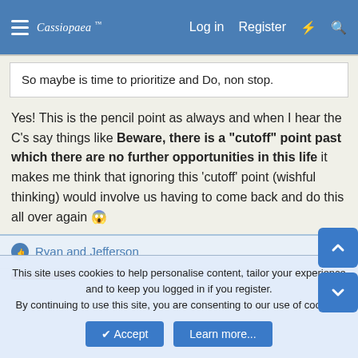Cassiopaea Log in Register
So maybe is time to prioritize and Do, non stop.
Yes! This is the pencil point as always and when I hear the C's say things like Beware, there is a "cutoff" point past which there are no further opportunities in this life it makes me think that ignoring this 'cutoff' point (wishful thinking) would involve us having to come back and do this all over again 😱
Ryan and Jefferson
This site uses cookies to help personalise content, tailor your experience and to keep you logged in if you register.
By continuing to use this site, you are consenting to our use of cookies.